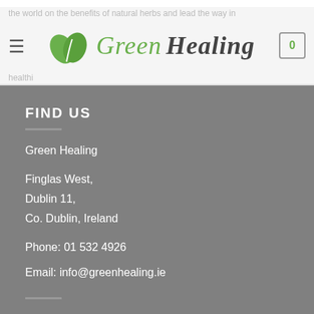the world on the benefits of natural herbs and lead the way in healthier living
[Figure (logo): Green Healing logo with two green leaves and stylized text 'Green Healing' with a shopping cart icon showing 0 items]
FIND US
Green Healing
Finglas West,
Dublin 11,
Co. Dublin, Ireland
Phone: 01 532 4926
Email: info@greenhealing.ie
USEFUL LINKS